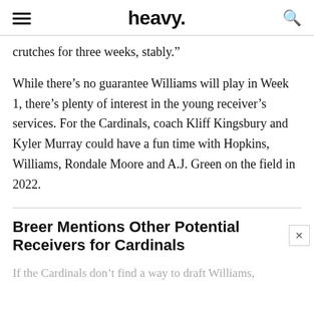heavy.
crutches for three weeks, stably.”
While there’s no guarantee Williams will play in Week 1, there’s plenty of interest in the young receiver’s services. For the Cardinals, coach Kliff Kingsbury and Kyler Murray could have a fun time with Hopkins, Williams, Rondale Moore and A.J. Green on the field in 2022.
Breer Mentions Other Potential Receivers for Cardinals
If the Cardinals don’t find a way to draft Williams,